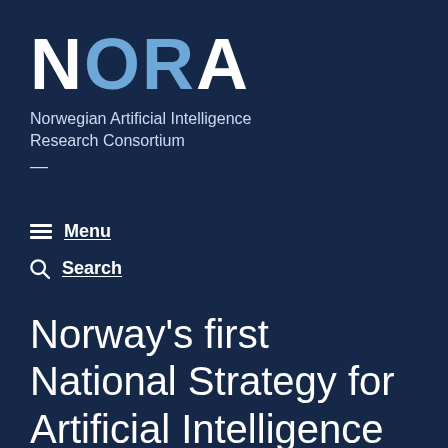NORA
Norwegian Artificial Intelligence Research Consortium
≡  Menu
🔍  Search
Norway's first National Strategy for Artificial Intelligence launched